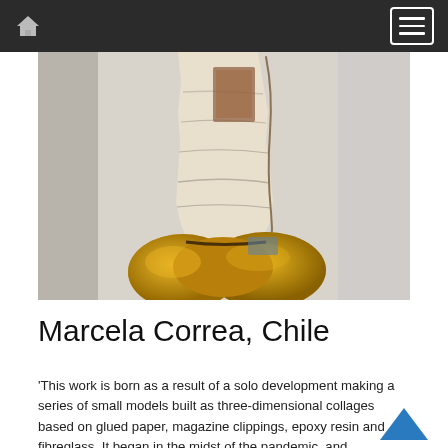Navigation bar with home icon and menu button
[Figure (photo): A sculptural artwork showing a torso-like figure made from glued paper, magazine clippings, epoxy resin and fibreglass — cream/beige tones on upper part and golden/yellow textures on the lower rounded base — photographed against a pale grey/white background.]
Marcela Correa, Chile
'This work is born as a result of a solo development making a series of small models built as three-dimensional collages based on glued paper, magazine clippings, epoxy resin and fibreglass. It began in the midst of the pandemic, and perhaps for this reason it is about absent faces and broken memories. The work